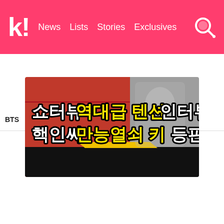K! News Lists Stories Exclusives
BTS BLACKPINK TWICE IVE aespa NCT SEVE
[Figure (illustration): Koreaboo website banner with Korean text reading: 쇼터뷰 역대급 텐션 인터뷰 핵인싸 만능열쇠 키 등판. Yellow highlighted words are 역대급 텐션 and 만능열쇠 키. Background shows cartoon/illustration style graphics with red, grey and black colors.]